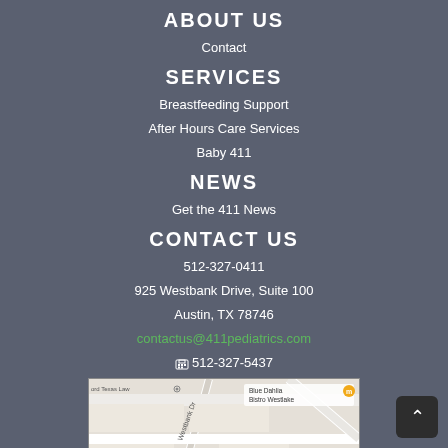ABOUT US
Contact
SERVICES
Breastfeeding Support
After Hours Care Services
Baby 411
NEWS
Get the 411 News
CONTACT US
512-327-0411
925 Westbank Drive, Suite 100
Austin, TX 78746
contactus@411pediatrics.com
512-327-5437
[Figure (map): Google map showing 925 Westbank Drive area in Austin, TX with Blue Dahlia Bistro Westlake and other nearby landmarks visible]